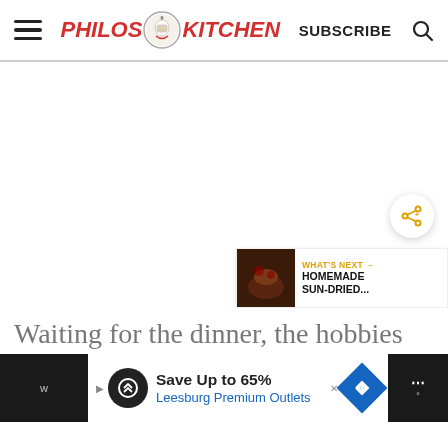Philos Kitchen — SUBSCRIBE
[Figure (screenshot): Large white/blank main content image area of a food blog article]
Waiting for the dinner, the hobbies
[Figure (infographic): Advertisement banner: Save Up to 65% Leesburg Premium Outlets]